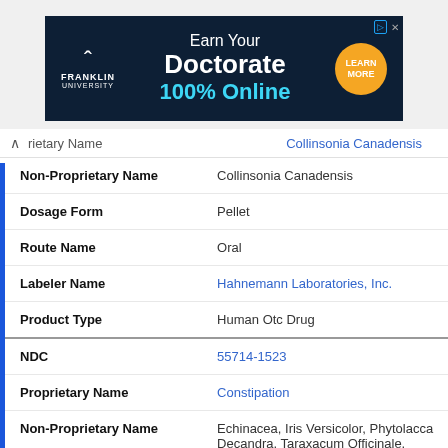[Figure (other): Franklin University advertisement banner: Earn Your Doctorate 100% Online with Learn More button]
| Field | Value |
| --- | --- |
| Proprietary Name | Collinsonia Canadensis |
| Non-Proprietary Name | Collinsonia Canadensis |
| Dosage Form | Pellet |
| Route Name | Oral |
| Labeler Name | Hahnemann Laboratories, Inc. |
| Product Type | Human Otc Drug |
| NDC | 55714-1523 |
| Proprietary Name | Constipation |
| Non-Proprietary Name | Echinacea, Iris Versicolor, Phytolacca Decandra, Taraxacum Officinale, Abies Nig... |
| Dosage Form | Liquid |
| Route Name |  |